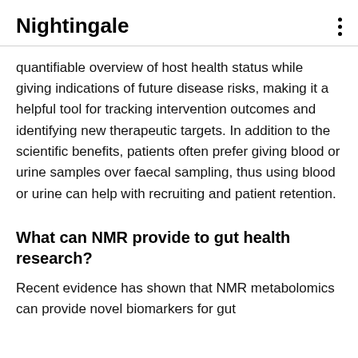Nightingale
quantifiable overview of host health status while giving indications of future disease risks, making it a helpful tool for tracking intervention outcomes and identifying new therapeutic targets. In addition to the scientific benefits, patients often prefer giving blood or urine samples over faecal sampling, thus using blood or urine can help with recruiting and patient retention.
What can NMR provide to gut health research?
Recent evidence has shown that NMR metabolomics can provide novel biomarkers for gut